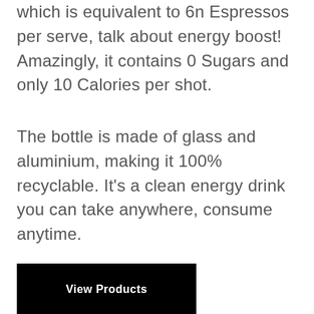which is equivalent to 6n Espressos per serve, talk about energy boost! Amazingly, it contains 0 Sugars and only 10 Calories per shot.
The bottle is made of glass and aluminium, making it 100% recyclable. It's a clean energy drink you can take anywhere, consume anytime.
View Products